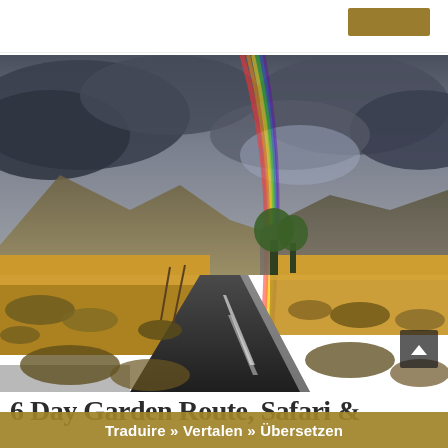[Figure (photo): A long straight road stretching toward the horizon under a dramatic stormy sky, with a rainbow arching down from the clouds. Golden fields and scrubland flank the road, with mountains visible in the background. The scene evokes the Garden Route, South Africa.]
6 Day Garden Route, Safari &
Traduire » Vertalen » Übersetzen